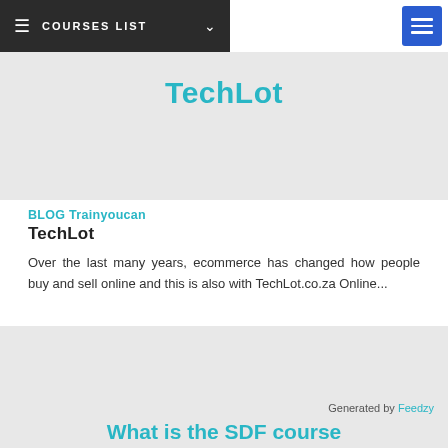COURSES LIST
[Figure (screenshot): Navigation bar with dark background showing COURSES LIST menu and blue hamburger menu button on right]
TechLot
BLOG Trainyoucan
TechLot
Over the last many years, ecommerce has changed how people buy and sell online and this is also with TechLot.co.za Online...
Generated by Feedzy
What is the SDF course